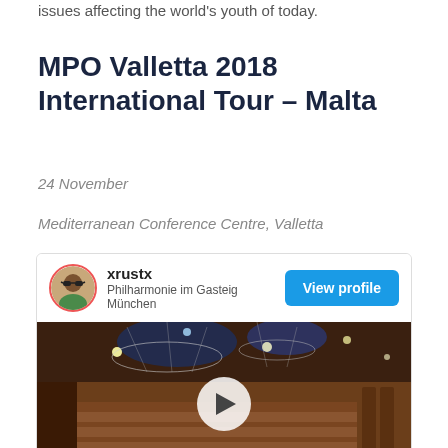issues affecting the world's youth of today.
MPO Valletta 2018 International Tour – Malta
24 November
Mediterranean Conference Centre, Valletta
[Figure (screenshot): Social media card showing user xrustx with subtitle 'Philharmonie im Gasteig München', a 'View profile' blue button, and a video thumbnail of a concert hall interior with a play button overlay.]